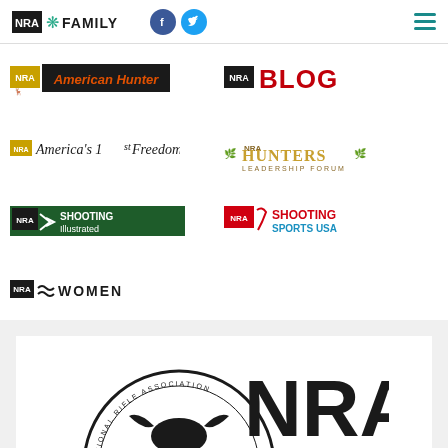NRA FAMILY
[Figure (logo): NRA American Hunter logo - orange text on dark background badge]
[Figure (logo): NRA BLOG logo - white text on black background]
[Figure (logo): NRA America's 1st Freedom logo]
[Figure (logo): NRA Hunters Leadership Forum logo]
[Figure (logo): NRA Shooting Illustrated logo - dark green background]
[Figure (logo): NRA Shooting Sports USA logo - red and blue text]
[Figure (logo): NRA Women logo]
[Figure (logo): NRA National Rifle Association seal and NRA text logo at bottom]